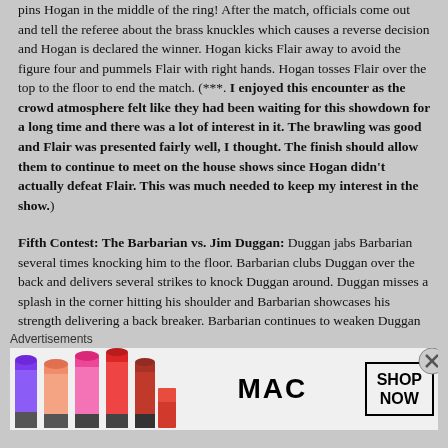pins Hogan in the middle of the ring! After the match, officials come out and tell the referee about the brass knuckles which causes a reverse decision and Hogan is declared the winner. Hogan kicks Flair away to avoid the figure four and pummels Flair with right hands. Hogan tosses Flair over the top to the floor to end the match. (***. I enjoyed this encounter as the crowd atmosphere felt like they had been waiting for this showdown for a long time and there was a lot of interest in it. The brawling was good and Flair was presented fairly well, I thought. The finish should allow them to continue to meet on the house shows since Hogan didn't actually defeat Flair. This was much needed to keep my interest in the show.)
Fifth Contest: The Barbarian vs. Jim Duggan: Duggan jabs Barbarian several times knocking him to the floor. Barbarian clubs Duggan over the back and delivers several strikes to knock Duggan around. Duggan misses a splash in the corner hitting his shoulder and Barbarian showcases his strength delivering a back breaker. Barbarian continues to weaken Duggan with a bear hug. Duggan breaks free and backs Barbarian into a corner following a clothesline. Duggan works over with
Advertisements
[Figure (photo): MAC Cosmetics advertisement banner showing colorful lipsticks (purple, salmon, pink, red) on the left, MAC logo in the center, and a SHOP NOW button on the right]